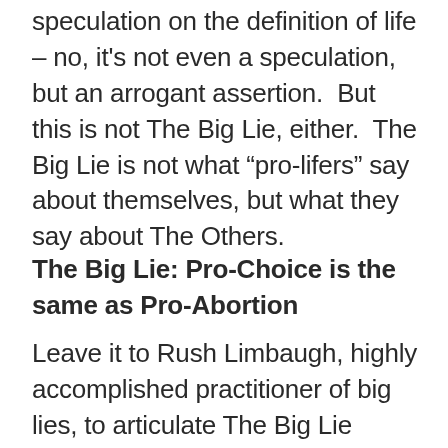speculation on the definition of life – no, it's not even a speculation, but an arrogant assertion.  But this is not The Big Lie, either.  The Big Lie is not what “pro-lifers” say about themselves, but what they say about The Others.
The Big Lie: Pro-Choice is the same as Pro-Abortion
Leave it to Rush Limbaugh, highly accomplished practitioner of big lies, to articulate The Big Lie About Abortion in its nastiest and nuttiest terms: